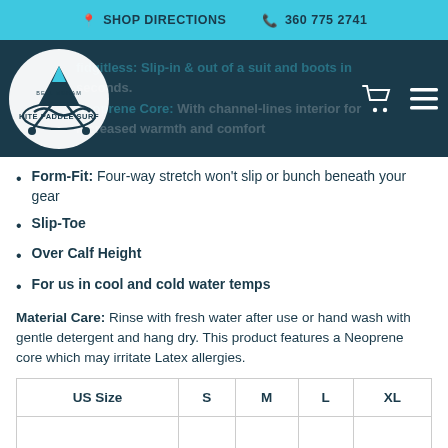SHOP DIRECTIONS  360 775 2741
[Figure (logo): Bellingham Kite Paddle Surf logo — white circular logo with mountain, waves, paddle/kite graphic and text 'KITE PADDLE SURF' on dark teal background]
fidgitless: Slip-in & out of a suit and boots in seconds... Neoprene Core: With channel-lines interior for increased warmth and comfort
Form-Fit: Four-way stretch won't slip or bunch beneath your gear
Slip-Toe
Over Calf Height
For us in cool and cold water temps
Material Care: Rinse with fresh water after use or hand wash with gentle detergent and hang dry. This product features a Neoprene core which may irritate Latex allergies.
| US Size | S | M | L | XL |
| --- | --- | --- | --- | --- |
|  |  |  |  |  |